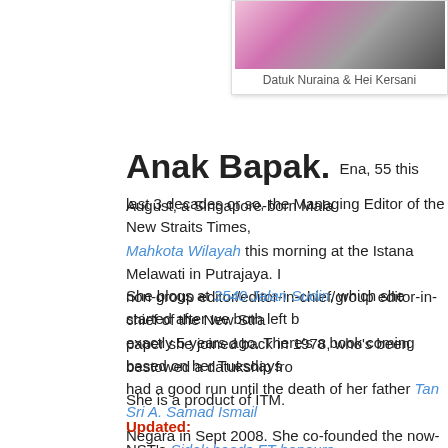[Figure (photo): Photo of Datuk Nuraina and Hei Kersani, upper body portrait, flowers/pink background]
Datuk Nuraina & Hei Kersani
Anak Bapak. Ena, 55 this August, a Singapore-born Mala... last 3 decades or so, the Managing Editor of the New Straits Times, Mahkota Wilayah this morning at the Istana Melawati in Putrajaya. I non-group editor/editor-in-chief/group editor-in-chief of the New Stra... paper she joined back in 1978, who's been bestowed a datukship fro...
She blogs at 3540 Jalan Sudin, which she started after we both left b... exactly 5 years ago. There's a book coming based on her Tuesdays ... had a good run until the death of her father Tan Sri A. Samad Ismail... Negara in Sept 2008. She co-founded the now-defunct National Allia... NURIN Alert, which was recently adopted by the Cabinet and renam... Nuraina is a trustee for the National Press Club and sits on the exco... House Malaysia, a new association to protect bloggers.
She is a product of ITM.
Updated:
NST's Sidek heads FT honours ..